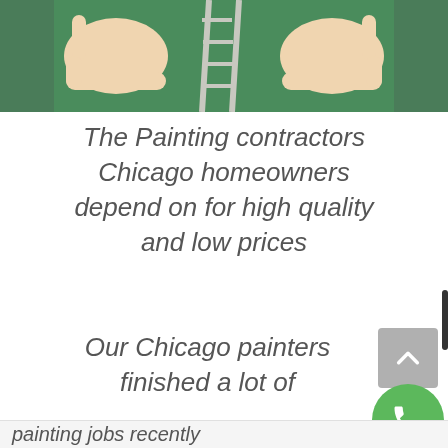[Figure (photo): Photo of two hands forming a frame gesture in front of a green-painted wall with a ladder visible in the background]
The Painting contractors Chicago homeowners depend on for high quality and low prices
Our Chicago painters finished a lot of painting jobs recently